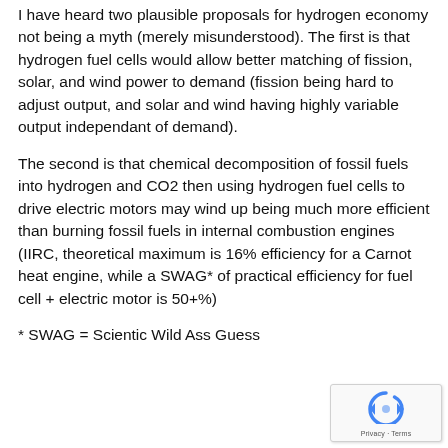I have heard two plausible proposals for hydrogen economy not being a myth (merely misunderstood). The first is that hydrogen fuel cells would allow better matching of fission, solar, and wind power to demand (fission being hard to adjust output, and solar and wind having highly variable output independant of demand).
The second is that chemical decomposition of fossil fuels into hydrogen and CO2 then using hydrogen fuel cells to drive electric motors may wind up being much more efficient than burning fossil fuels in internal combustion engines (IIRC, theoretical maximum is 16% efficiency for a Carnot heat engine, while a SWAG* of practical efficiency for fuel cell + electric motor is 50+%)
* SWAG = Scientic Wild Ass Guess